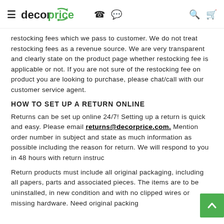decorprice [hamburger menu, phone, chat, search, cart icons]
restocking fees which we pass to customer. We do not treat restocking fees as a revenue source. We are very transparent and clearly state on the product page whether restocking fee is applicable or not. If you are not sure of the restocking fee on product you are looking to purchase, please chat/call with our customer service agent.
HOW TO SET UP A RETURN ONLINE
Returns can be set up online 24/7! Setting up a return is quick and easy. Please email returns@decorprice.com. Mention order number in subject and state as much information as possible including the reason for return. We will respond to you in 48 hours with return instruc
Return products must include all original packaging, including all papers, parts and associated pieces. The items are to be uninstalled, in new condition and with no clipped wires or missing hardware. Need original packing